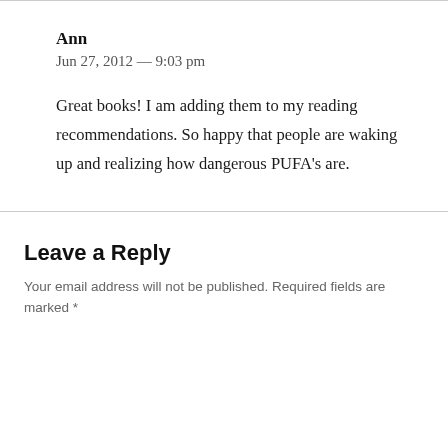Ann
Jun 27, 2012 — 9:03 pm
Great books! I am adding them to my reading recommendations. So happy that people are waking up and realizing how dangerous PUFA's are.
Leave a Reply
Your email address will not be published. Required fields are marked *